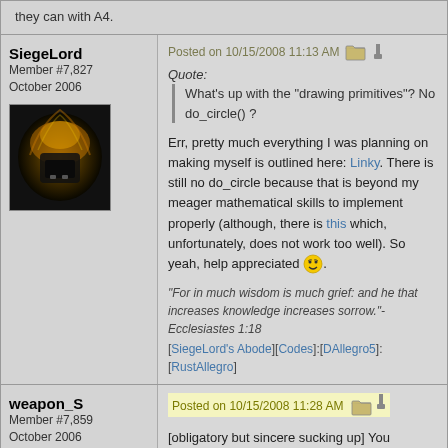they can with A4.
SiegeLord
Member #7,827
October 2006
Posted on 10/15/2008 11:13 AM
Quote:
What's up with the "drawing primitives"? No do_circle() ?
Err, pretty much everything I was planning on making myself is outlined here: Linky. There is still no do_circle because that is beyond my meager mathematical skills to implement properly (although, there is this which, unfortunately, does not work too well). So yeah, help appreciated 😄.
"For in much wisdom is much grief: and he that increases knowledge increases sorrow."-Ecclesiastes 1:18
[SiegeLord's Abode][Codes]:[DAllegro5]:[RustAllegro]
weapon_S
Member #7,859
October 2006
Posted on 10/15/2008 11:28 AM
[obligatory but sincere sucking up] You